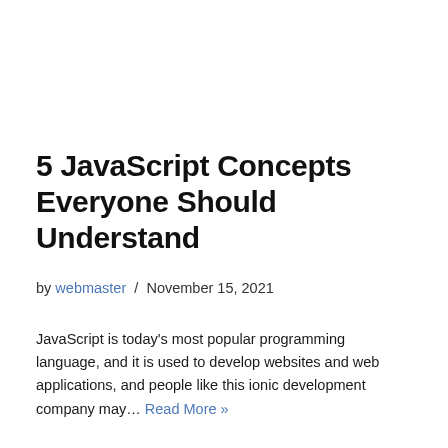5 JavaScript Concepts Everyone Should Understand
by webmaster / November 15, 2021
JavaScript is today's most popular programming language, and it is used to develop websites and web applications, and people like this ionic development company may… Read More »